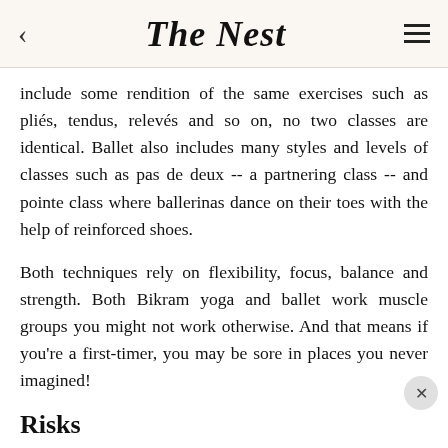The Nest
include some rendition of the same exercises such as pliés, tendus, relevés and so on, no two classes are identical. Ballet also includes many styles and levels of classes such as pas de deux -- a partnering class -- and pointe class where ballerinas dance on their toes with the help of reinforced shoes.
Both techniques rely on flexibility, focus, balance and strength. Both Bikram yoga and ballet work muscle groups you might not work otherwise. And that means if you're a first-timer, you may be sore in places you never imagined!
Risks